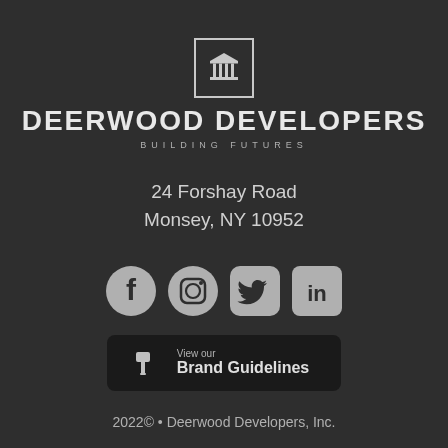[Figure (logo): Deerwood Developers logo: building/column icon in a square border, company name in large bold uppercase, tagline BUILDING FUTURES in spaced small caps]
24 Forshay Road
Monsey, NY 10952
[Figure (illustration): Four social media icons in a row: Facebook, Instagram, Twitter, LinkedIn]
[Figure (other): Dark rounded rectangle button with a paintbrush/flag icon, text 'View our' and 'Brand Guidelines']
2022© • Deerwood Developers, Inc.